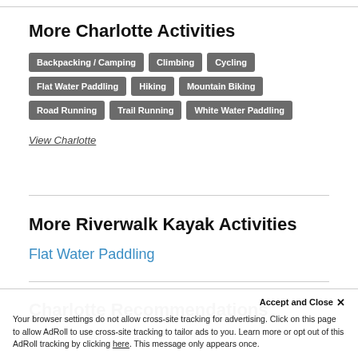More Charlotte Activities
Backpacking / Camping
Climbing
Cycling
Flat Water Paddling
Hiking
Mountain Biking
Road Running
Trail Running
White Water Paddling
View Charlotte
More Riverwalk Kayak Activities
Flat Water Paddling
Charlotte Recommendations
Accept and Close ×
Your browser settings do not allow cross-site tracking for advertising. Click on this page to allow AdRoll to use cross-site tracking to tailor ads to you. Learn more or opt out of this AdRoll tracking by clicking here. This message only appears once.